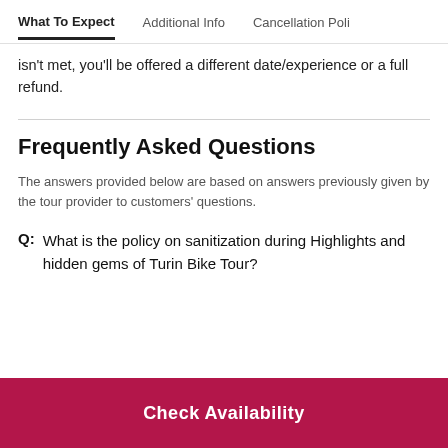What To Expect | Additional Info | Cancellation Poli
isn't met, you'll be offered a different date/experience or a full refund.
Frequently Asked Questions
The answers provided below are based on answers previously given by the tour provider to customers' questions.
Q: What is the policy on sanitization during Highlights and hidden gems of Turin Bike Tour?
Check Availability